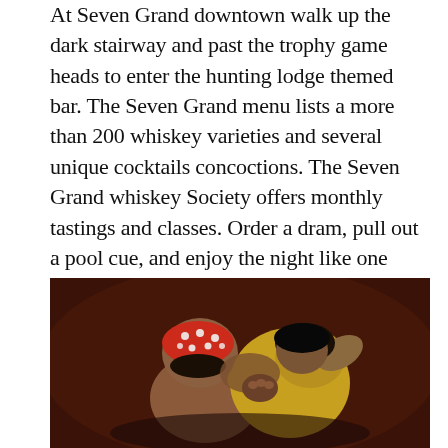At Seven Grand downtown walk up the dark stairway and past the trophy game heads to enter the hunting lodge themed bar. The Seven Grand menu lists a more than 200 whiskey varieties and several unique cocktails concoctions. The Seven Grand whiskey Society offers monthly tastings and classes. Order a dram, pull out a pool cue, and enjoy the night like one might after a good fox hunt. Weeknights are best as the weekends tend to get the kind of crowded that may look more of a fraternity party than a relaxing place to unwind after a long day of work.
[Figure (photo): Two people dancing or embracing in close contact, one wearing a red polka-dot head covering and the other in a yellow garment, photographed against a dark brown/red background.]